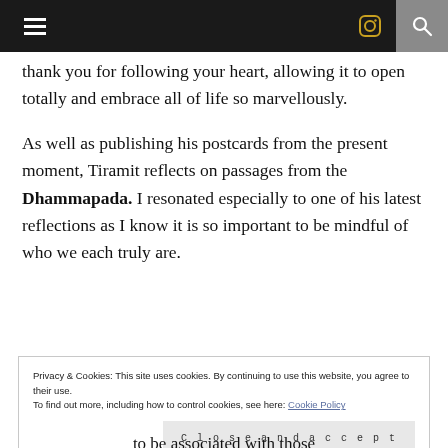≡ [instagram icon] [search icon]
thank you for following your heart, allowing it to open totally and embrace all of life so marvellously.
As well as publishing his postcards from the present moment, Tiramit reflects on passages from the Dhammapada. I resonated especially to one of his latest reflections as I know it is so important to be mindful of who we each truly are.
Privacy & Cookies: This site uses cookies. By continuing to use this website, you agree to their use.
To find out more, including how to control cookies, see here: Cookie Policy
Close and accept
to be associated with those